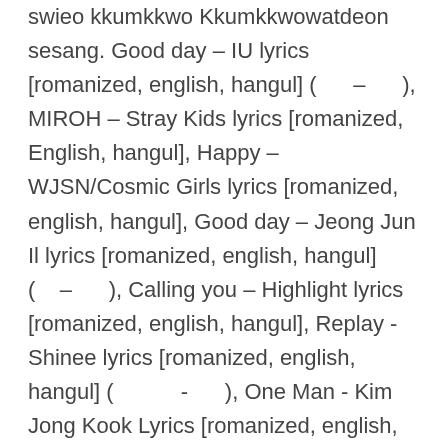swieo kkumkkwo Kkumkkwowatdeon sesang. Good day – IU lyrics [romanized, english, hangul] (    –    ), MIROH – Stray Kids lyrics [romanized, English, hangul], Happy – WJSN/Cosmic Girls lyrics [romanized, english, hangul], Good day – Jeong Jun Il lyrics [romanized, english, hangul] (    –    ), Calling you – Highlight lyrics [romanized, english, hangul], Replay - Shinee lyrics [romanized, english, hangul] (           -       ), One Man - Kim Jong Kook Lyrics [romanized, english, hangul] (       -    ), Liss - Big Bang lyrics [romanized